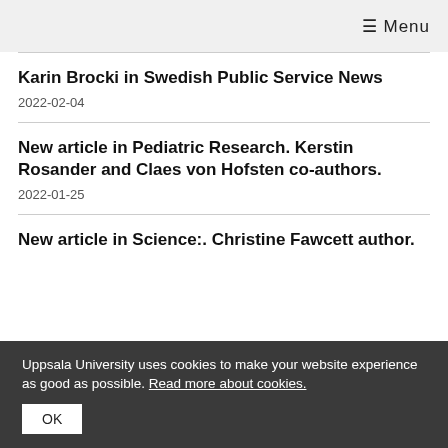☰ Menu
Karin Brocki in Swedish Public Service News
2022-02-04
New article in Pediatric Research. Kerstin Rosander and Claes von Hofsten co-authors.
2022-01-25
New article in Science:. Christine Fawcett author.
Uppsala University uses cookies to make your website experience as good as possible. Read more about cookies.